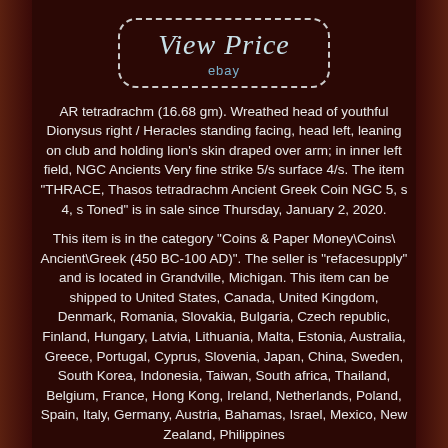[Figure (other): View Price button with dashed rounded border and eBay label on dark brown background]
AR tetradrachm (16.68 gm). Wreathed head of youthful Dionysus right / Heracles standing facing, head left, leaning on club and holding lion's skin draped over arm; in inner left field, NGC Ancients Very fine strike 5/s surface 4/s. The item "THRACE, Thasos tetradrachm Ancient Greek Coin NGC 5, s 4, s Toned" is in sale since Thursday, January 2, 2020.
This item is in the category "Coins & Paper Money\Coins\ Ancient\Greek (450 BC-100 AD)". The seller is "refacesupply" and is located in Grandville, Michigan. This item can be shipped to United States, Canada, United Kingdom, Denmark, Romania, Slovakia, Bulgaria, Czech republic, Finland, Hungary, Latvia, Lithuania, Malta, Estonia, Australia, Greece, Portugal, Cyprus, Slovenia, Japan, China, Sweden, South Korea, Indonesia, Taiwan, South africa, Thailand, Belgium, France, Hong Kong, Ireland, Netherlands, Poland, Spain, Italy, Germany, Austria, Bahamas, Israel, Mexico, New Zealand, Philippines